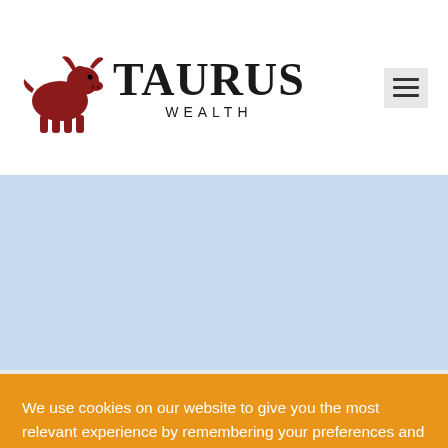[Figure (logo): Taurus Wealth logo with a dark red bull illustration on the left, and the text TAURUS in large bold serif font with WEALTH in smaller spaced sans-serif below]
[Figure (other): Hamburger menu icon (three horizontal lines) on a light grey square background in the top right corner]
[Figure (other): Light blue banner/hero image area]
Who is
We use cookies on our website to give you the most relevant experience by remembering your preferences and repeat visits. By clicking “Accept”, you consent to the use of ALL the cookies.
Cookie settings
ACCEPT